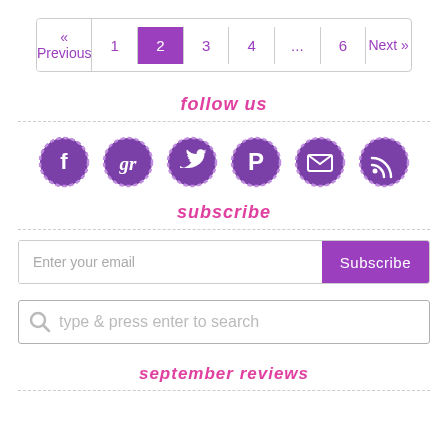[Figure (other): Pagination bar with Previous, 1, 2 (active/highlighted in purple), 3, 4, ..., 6, Next buttons]
follow us
[Figure (infographic): Row of 6 circular social media icons: Facebook, Goodreads, Twitter, Pinterest, Email, RSS — styled in purple with dashed borders]
subscribe
[Figure (other): Email subscribe input field with placeholder 'Enter your email' and a purple Subscribe button]
[Figure (other): Search bar with magnifying glass icon and placeholder text 'type & press enter to search']
september reviews